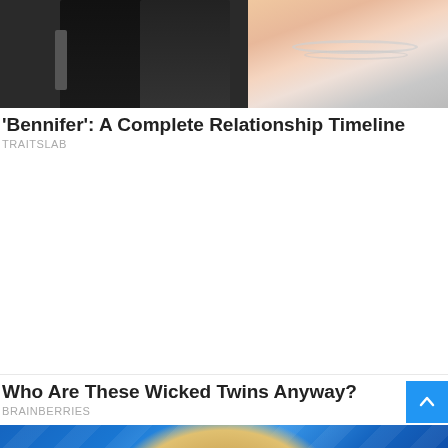[Figure (photo): Two people at an event, one in a dark suit holding a trophy/award, the other in a light-colored dress with pearl necklace]
‘Bennifer’: A Complete Relationship Timeline
TRAITSLAB
[Figure (photo): Blonde person photographed from above, with blue/glitter background]
Who Are These Wicked Twins Anyway?
BRAINBERRIES